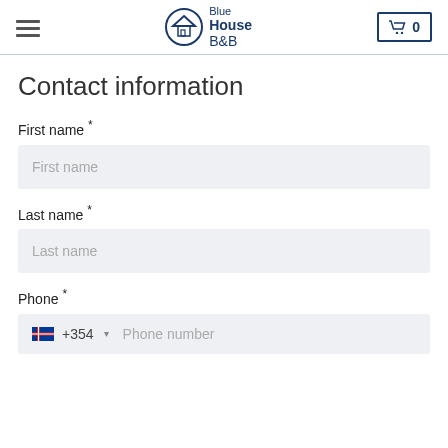Blue House B&B — navigation header with hamburger menu, logo, and cart button (0)
Contact information
First name *
First name (placeholder)
Last name *
Last name (placeholder)
Phone *
+354  Phone number (placeholder)